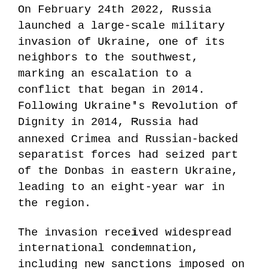On February 24th 2022, Russia launched a large-scale military invasion of Ukraine, one of its neighbors to the southwest, marking an escalation to a conflict that began in 2014. Following Ukraine's Revolution of Dignity in 2014, Russia had annexed Crimea and Russian-backed separatist forces had seized part of the Donbas in eastern Ukraine, leading to an eight-year war in the region.
The invasion received widespread international condemnation, including new sanctions imposed on Russia, triggering a financial crisis. Global protests took place against the invasion, while protests in Russia were met with mass arrests. Many reports called the invasion the largest